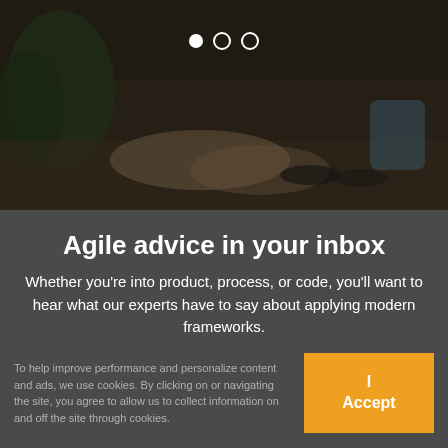[Figure (photo): Dark, blurred background photo of people shaking hands or working at a desk, with green plants visible. Carousel dots (one filled, two empty) are overlaid at the top center.]
Agile advice in your inbox
Whether you're into product, process, or code, you'll want to hear what our experts have to say about applying modern frameworks.
To help improve performance and personalize content and ads, we use cookies. By clicking on or navigating the site, you agree to allow us to collect information on and off the site through cookies.
I Accept